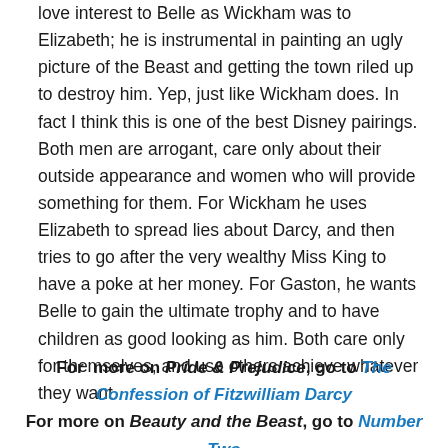love interest to Belle as Wickham was to Elizabeth; he is instrumental in painting an ugly picture of the Beast and getting the town riled up to destroy him. Yep, just like Wickham does. In fact I think this is one of the best Disney pairings. Both men are arrogant, care only about their outside appearance and women who will provide something for them. For Wickham he uses Elizabeth to spread lies about Darcy, and then tries to go after the very wealthy Miss King to have a poke at her money. For Gaston, he wants Belle to gain the ultimate trophy and to have children as good looking as him. Both care only for themselves, and use others achieve whatever they want.
For more on Pride & Prejudice, go to The Confession of Fitzwilliam Darcy
For more on Beauty and the Beast, go to Number Two